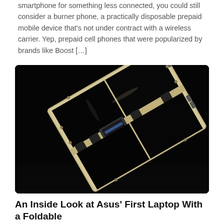smartphone for something less connected, you could still consider a burner phone, a practically disposable prepaid mobile device that's not under contract with a wireless carrier. Yep, prepaid cell phones that were popularized by brands like Boost […]
[Figure (photo): A laptop with a foldable screen photographed against a dark black background. The device appears to have a cream/beige frame and shows an open foldable display with multiple panels, set at an angle on a dark surface.]
An Inside Look at Asus' First Laptop With a Foldable